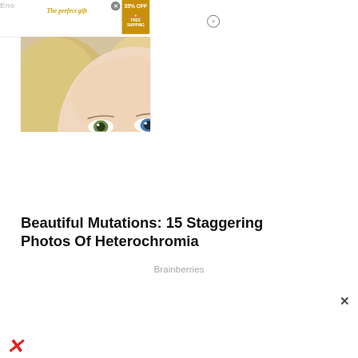Eno
The perfect gift
[Figure (photo): A smiling blonde woman with heterochromia (one green eye, one blue eye) holding a puppy that also appears to have heterochromia. The photo is a close-up portrait with a soft outdoor background.]
Beautiful Mutations: 15 Staggering Photos Of Heterochromia
Brainberries